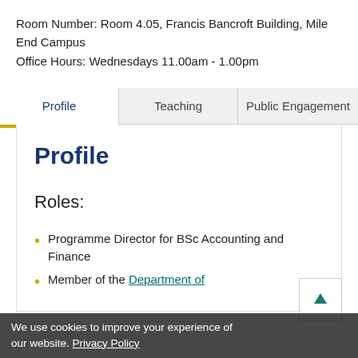Room Number: Room 4.05, Francis Bancroft Building, Mile End Campus
Office Hours: Wednesdays 11.00am - 1.00pm
Profile | Teaching | Public Engagement
Profile
Roles:
Programme Director for BSc Accounting and Finance
Member of the Department of